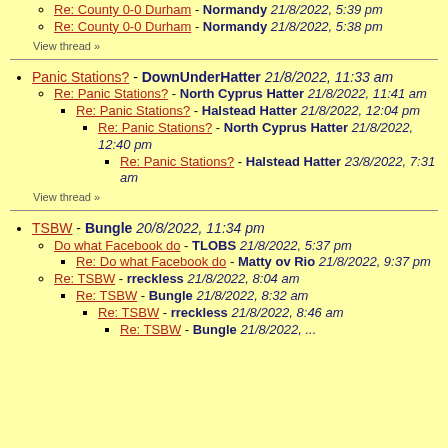Re: County 0-0 Durham - Normandy 21/8/2022, 5:38 pm
View thread »
Panic Stations? - DownUnderHatter 21/8/2022, 11:33 am
Re: Panic Stations? - North Cyprus Hatter 21/8/2022, 11:41 am
Re: Panic Stations? - Halstead Hatter 21/8/2022, 12:04 pm
Re: Panic Stations? - North Cyprus Hatter 21/8/2022, 12:40 pm
Re: Panic Stations? - Halstead Hatter 23/8/2022, 7:31 am
View thread »
TSBW - Bungle 20/8/2022, 11:34 pm
Do what Facebook do - TLOBS 21/8/2022, 5:37 pm
Re: Do what Facebook do - Matty ov Rio 21/8/2022, 9:37 pm
Re: TSBW - rreckless 21/8/2022, 8:04 am
Re: TSBW - Bungle 21/8/2022, 8:32 am
Re: TSBW - rreckless 21/8/2022, 8:46 am
Re: TSBW - Bungle 21/8/2022, ...